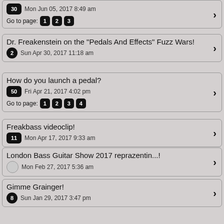30 Mon Jun 05, 2017 8:49 am — Go to page: 1 2 3
Dr. Freakenstein on the "Pedals And Effects" Fuzz Wars! — 2 Sun Apr 30, 2017 11:18 am
How do you launch a pedal? — 50 Fri Apr 21, 2017 4:02 pm — Go to page: 1 2 3 4
Freakbass videoclip! — 11 Mon Apr 17, 2017 9:33 am
London Bass Guitar Show 2017 reprazentin...! — Mon Feb 27, 2017 5:36 am
Gimme Grainger! — 8 Sun Jan 29, 2017 3:47 pm
Post a new topic
Switch to full style
Powered by phpBB © phpBB Group.   phpBB Mobile / SEO by Artodia.
Board index